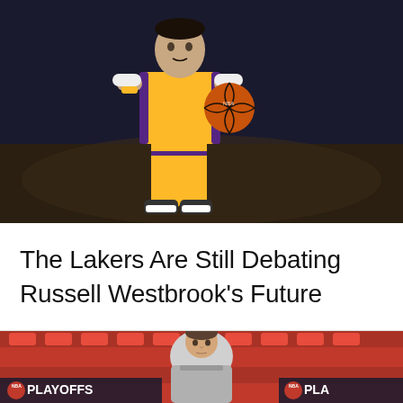[Figure (photo): Lakers player in yellow uniform dribbling a basketball on a dark court background]
The Lakers Are Still Debating Russell Westbrook's Future
[Figure (photo): Man in gray athletic top leaning forward in arena seating area with red seats and NBA Playoffs signage visible]